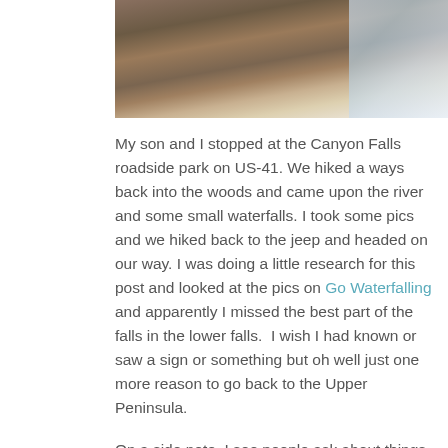[Figure (photo): Photograph of rocks and water at Canyon Falls, showing wet rocky surfaces with flowing water visible on the right side]
My son and I stopped at the Canyon Falls roadside park on US-41. We hiked a ways back into the woods and came upon the river and some small waterfalls. I took some pics and we hiked back to the jeep and headed on our way. I was doing a little research for this post and looked at the pics on Go Waterfalling and apparently I missed the best part of the falls in the lower falls.  I wish I had known or saw a sign or something but oh well just one more reason to go back to the Upper Peninsula.
On a side note, I see people ask about things to see in the U.P. and others